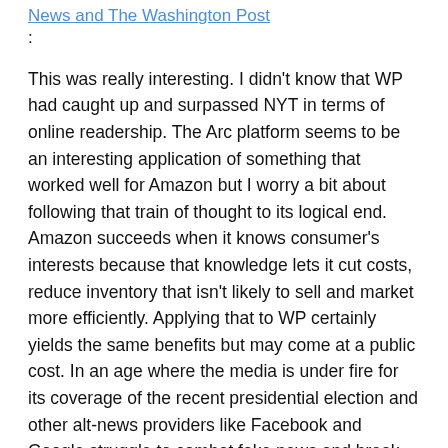News and The Washington Post :
This was really interesting. I didn't know that WP had caught up and surpassed NYT in terms of online readership. The Arc platform seems to be an interesting application of something that worked well for Amazon but I worry a bit about following that train of thought to its logical end. Amazon succeeds when it knows consumer's interests because that knowledge lets it cut costs, reduce inventory that isn't likely to sell and market more efficiently. Applying that to WP certainly yields the same benefits but may come at a public cost. In an age where the media is under fire for its coverage of the recent presidential election and other alt-news providers like Facebook and Google struggle to combat fake news and break users out of self-reinforcing information bubbles, one could